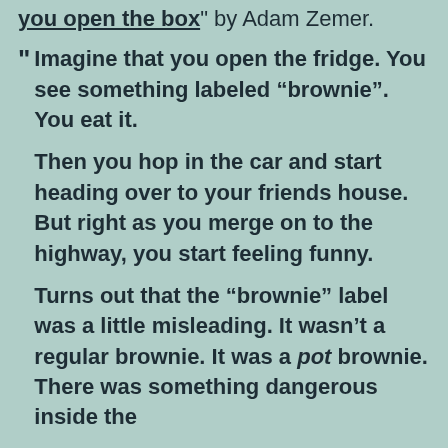you open the box" by Adam Zemer.
" Imagine that you open the fridge. You see something labeled “brownie”. You eat it.

Then you hop in the car and start heading over to your friends house. But right as you merge on to the highway, you start feeling funny.

Turns out that the “brownie” label was a little misleading. It wasn’t a regular brownie. It was a pot brownie. There was something dangerous inside the